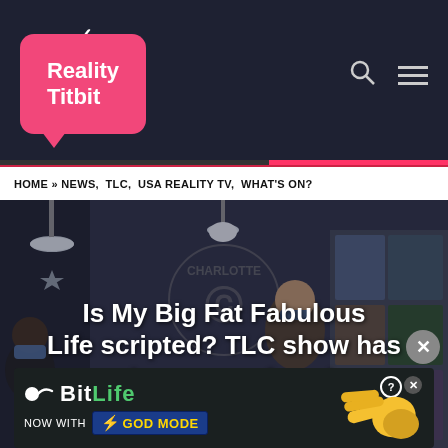[Figure (logo): Reality Titbit logo — pink speech-bubble TV shape with checkmark, white text 'Reality Titbit' on dark navy background]
HOME » NEWS, TLC, USA REALITY TV, WHAT'S ON?
[Figure (photo): Interior of a tattoo shop; person wearing blue mask on left, woman in background, artwork on walls, pendant lamps, Charlotte logo on wall]
Is My Big Fat Fabulous Life scripted? TLC show has viewers confused
[Figure (infographic): BitLife advertisement banner: 'NOW WITH GOD MODE' with lightning bolt and pointing hand graphic on dark background]